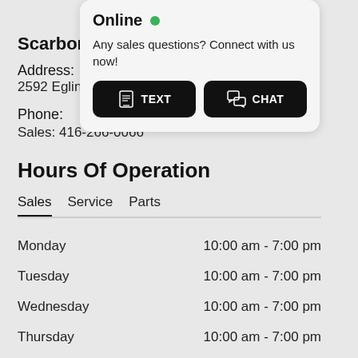Scarboro
Address:
2592 Eglin
Phone:
Sales: 416-266-0066
[Figure (screenshot): Popup chat widget showing 'Online' status with green dot, text 'Any sales questions? Connect with us now!' and two black buttons: TEXT and CHAT]
Hours Of Operation
Sales  Service  Parts
| Day | Hours |
| --- | --- |
| Monday | 10:00 am - 7:00 pm |
| Tuesday | 10:00 am - 7:00 pm |
| Wednesday | 10:00 am - 7:00 pm |
| Thursday | 10:00 am - 7:00 pm |
| Friday | 10:00 am - 6:00 pm |
| Saturday | 10:00 am - 5:00 pm |